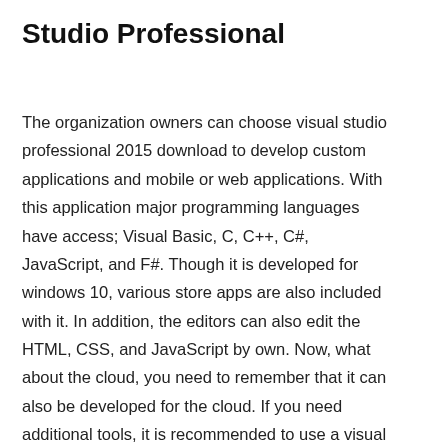Studio Professional
The organization owners can choose visual studio professional 2015 download to develop custom applications and mobile or web applications. With this application major programming languages have access; Visual Basic, C, C++, C#, JavaScript, and F#. Though it is developed for windows 10, various store apps are also included with it. In addition, the editors can also edit the HTML, CSS, and JavaScript by own. Now, what about the cloud, you need to remember that it can also be developed for the cloud. If you need additional tools, it is recommended to use a visual studio professional.